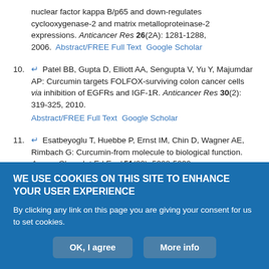nuclear factor kappa B/p65 and down-regulates cyclooxygenase-2 and matrix metalloproteinase-2 expressions. Anticancer Res 26(2A): 1281-1288, 2006. Abstract/FREE Full Text  Google Scholar
10. Patel BB, Gupta D, Elliott AA, Sengupta V, Yu Y, Majumdar AP: Curcumin targets FOLFOX-surviving colon cancer cells via inhibition of EGFRs and IGF-1R. Anticancer Res 30(2): 319-325, 2010. Abstract/FREE Full Text  Google Scholar
11. Esatbeyoglu T, Huebbe P, Ernst IM, Chin D, Wagner AE, Rimbach G: Curcumin-from molecule to biological function. Angew Chem Int Ed Engl 51(22): 5308-5332, 2012. CrossRef  PubMed  Google Scholar
12. Dhillon N, Aggarwal BB, Newman RA, Wolff RA, Kunnumakkara AB, Abbruzzese JL, Ng CS, Badmaev V, Kurzrock R: Phase II trial of curcumin...
WE USE COOKIES ON THIS SITE TO ENHANCE YOUR USER EXPERIENCE
By clicking any link on this page you are giving your consent for us to set cookies.
OK, I agree  More info